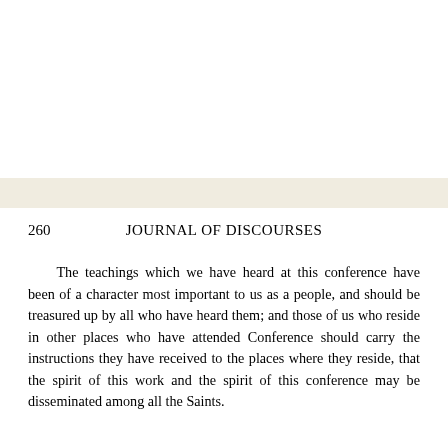260    JOURNAL OF DISCOURSES
The teachings which we have heard at this conference have been of a character most important to us as a people, and should be treasured up by all who have heard them; and those of us who reside in other places who have attended Conference should carry the instructions they have received to the places where they reside, that the spirit of this work and the spirit of this conference may be disseminated among all the Saints.